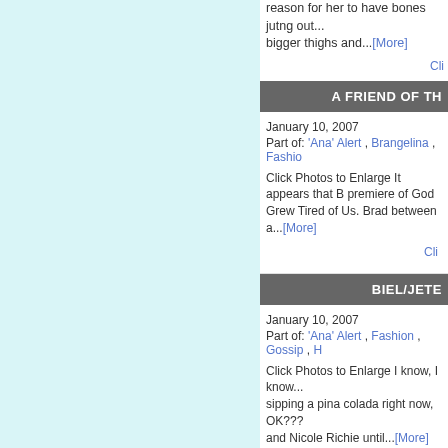reason for her to have bones jutng out... bigger thighs and...[More]
Cli
A FRIEND OF TH
January 10, 2007
Part of: 'Ana' Alert , Brangelina , Fashio
Click Photos to Enlarge It appears that B premiere of God Grew Tired of Us. Brad between a...[More]
Cli
BIEL/JETE
January 10, 2007
Part of: 'Ana' Alert , Fashion , Gossip , H
Click Photos to Enlarge I know, I know... sipping a pina colada right now, OK??? and Nicole Richie until...[More]
Cli
FASHION F